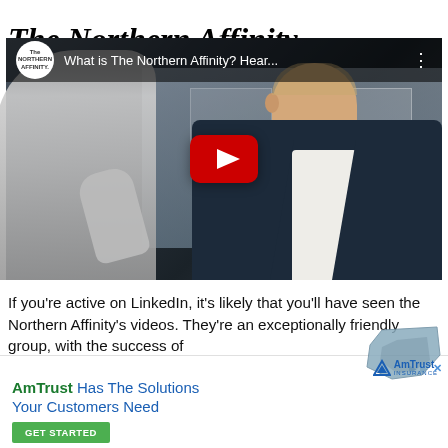The Northern Affinity
[Figure (screenshot): YouTube video thumbnail showing two people in conversation. Video title: 'What is The Northern Affinity? Hear...' with The Northern Affinity logo, play button overlay.]
If you're active on LinkedIn, it's likely that you'll have seen the Northern Affinity's videos. They're an exceptionally friendly group, with the success of
[Figure (infographic): AmTrust Insurance advertisement. Text: 'AmTrust Has The Solutions Your Customers Need' with GET STARTED button, AmTrust Insurance logo, and decorative state map shape.]